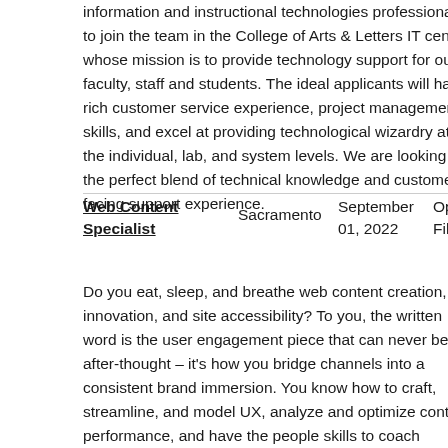information and instructional technologies professionals to join the team in the College of Arts & Letters IT center, whose mission is to provide technology support for our faculty, staff and students. The ideal applicants will have rich customer service experience, project management skills, and excel at providing technological wizardry at the individual, lab, and system levels. We are looking for the perfect blend of technical knowledge and customer facing support experience.
| Job Title | Location | Date | Status |
| --- | --- | --- | --- |
| Web Content Specialist | Sacramento | September 01, 2022 | Open Until Filled |
Do you eat, sleep, and breathe web content creation, innovation, and site accessibility? To you, the written word is the user engagement piece that can never be an after-thought – it's how you bridge channels into a consistent brand immersion. You know how to craft, streamline, and model UX, analyze and optimize content performance, and have the people skills to coach campus web publishers to a consistent, accessible, and compliant standard. Start your next chapter with Team IRT, and help us level-up the digital user experience at California State